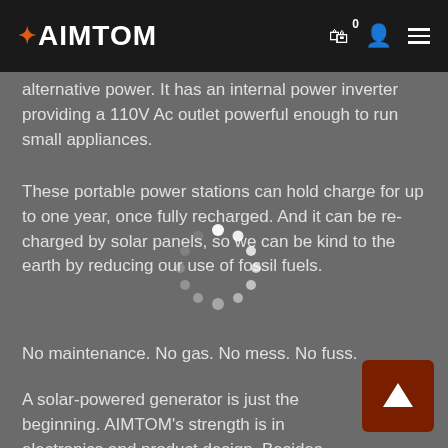AIMTOM
alternative power. It has an internal power inverter providing a 110V Ac outlet powerful enough to run small appliances.
These portable power stations can hold charge for up to one year, once fully recharged. And it can be recharged by solar panels, so we can be kind to the earth by reducing our use of fossil fuels.
No maintenance. No gas. No mess. No fuss.
A solar-powered generator is just the beginning. AIMTOM's strength is in electronics and product design. Besides portable power, AIMTOM products also include: